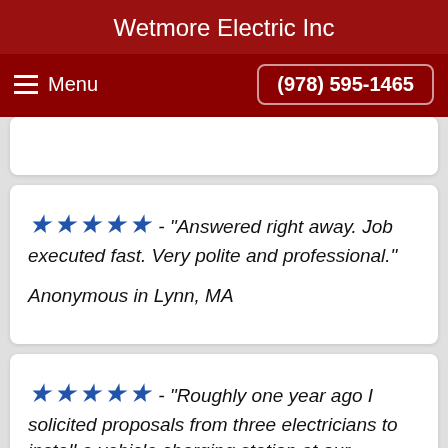Wetmore Electric Inc
Menu  (978) 595-1465
★★★★★ - "Answered right away. Job executed fast. Very polite and professional."

Anonymous in Lynn, MA
★★★★★ - "Roughly one year ago I solicited proposals from three electricians to install a vehicle charging station at our condominium. It was complicated as it involved a lengthy run through a common area attic, down the outside and below grade